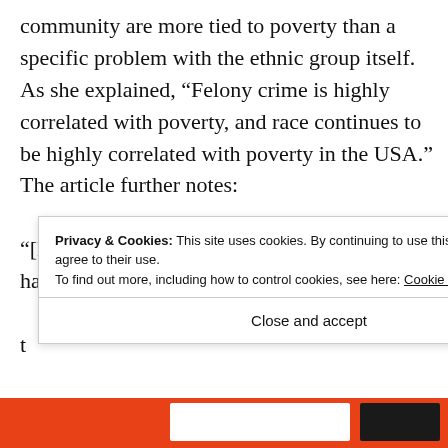community are more tied to poverty than a specific problem with the ethnic group itself. As she explained, “Felony crime is highly correlated with poverty, and race continues to be highly correlated with poverty in the USA.” The article further notes:

“[McCoy] said blacks might be more likely to have a violent encounter with police because t... t... -
Privacy & Cookies: This site uses cookies. By continuing to use this website, you agree to their use. To find out more, including how to control cookies, see here: Cookie Policy
Close and accept